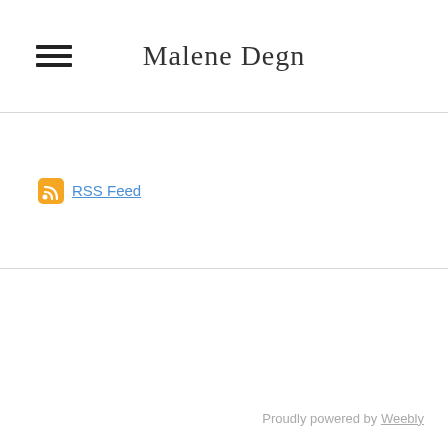Malene Degn
RSS Feed
Proudly powered by Weebly